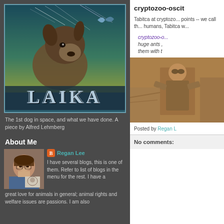[Figure (illustration): Vintage-style illustration of Laika the dog in space with 'LAIKA' text at bottom, teal/blue background with spacecraft trails]
The 1st dog in space, and what we have done. A piece by Alfred Lehmberg
About Me
[Figure (photo): Profile photo of Regan Lee, woman with glasses]
Regan Lee
I have several blogs, this is one of them. Refer to list of blogs in the menu for the rest. I have a great love for animals in general; animal rights and welfare issues are passions. I am also
cryptozoo-oscit
Tabitca at cryptozo... points -- we call th... humans, Tabitca w...
cryptozoo-o... huge ants , them with t
[Figure (photo): Sepia-toned photograph of a person in goggles working in what appears to be a construction or industrial setting]
Posted by Regan L
No comments: